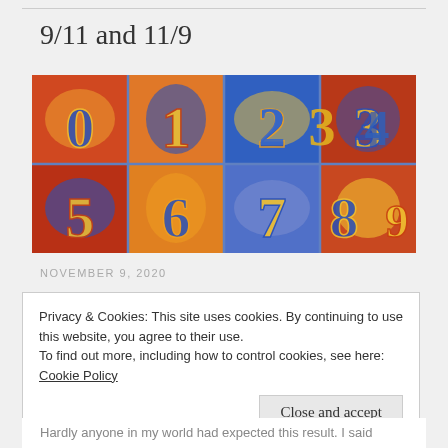9/11 and 11/9
[Figure (illustration): Colorful abstract painting of numbers 0-9 arranged in a grid, painted in bold reds, blues, yellows, and oranges in an expressionist style]
NOVEMBER 9, 2020
Privacy & Cookies: This site uses cookies. By continuing to use this website, you agree to their use.
To find out more, including how to control cookies, see here: Cookie Policy
Close and accept
Hardly anyone in my world had expected this result. I said